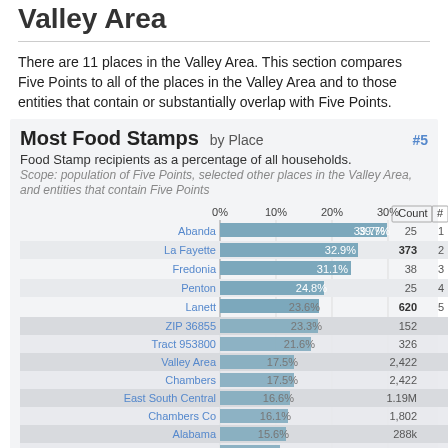Valley Area
There are 11 places in the Valley Area. This section compares Five Points to all of the places in the Valley Area and to those entities that contain or substantially overlap with Five Points.
[Figure (bar-chart): Most Food Stamps by Place]